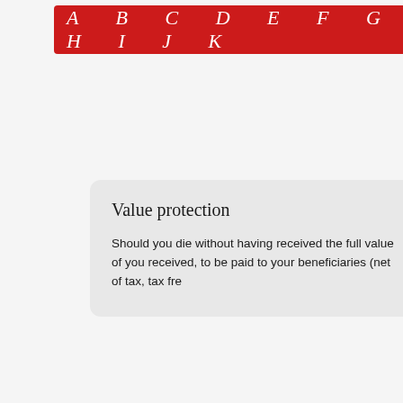A  B  C  D  E  F  G  H  I  J  K
Value protection
Should you die without having received the full value of you received, to be paid to your beneficiaries (net of tax, tax fre